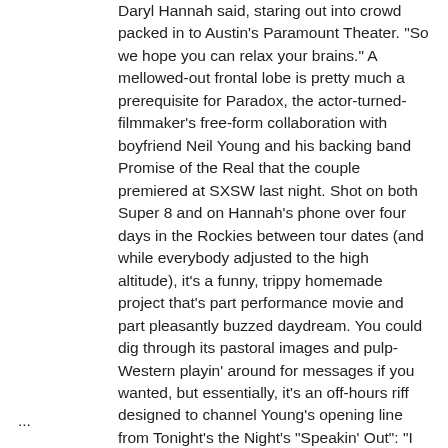Daryl Hannah said, staring out into crowd packed in to Austin's Paramount Theater. "So we hope you can relax your brains." A mellowed-out frontal lobe is pretty much a prerequisite for Paradox, the actor-turned-filmmaker's free-form collaboration with boyfriend Neil Young and his backing band Promise of the Real that the couple premiered at SXSW last night. Shot on both Super 8 and on Hannah's phone over four days in the Rockies between tour dates (and while everybody adjusted to the high altitude), it's a funny, trippy homemade project that's part performance movie and part pleasantly buzzed daydream. You could dig through its pastoral images and pulp-Western playin' around for messages if you wanted, but essentially, it's an off-hours riff designed to channel Young's opening line from Tonight's the Night's "Speakin' Out": "I went to the movie the other night/The plot was groovy, it was out of sight."
...